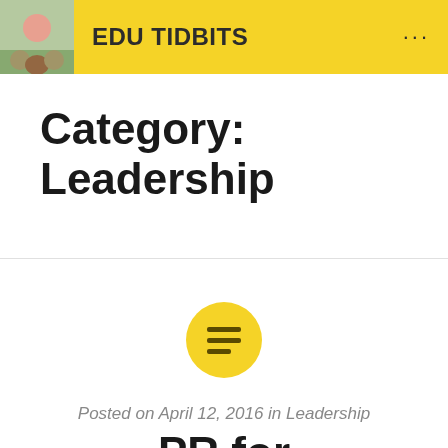EDU TIDBITS
Category: Leadership
[Figure (illustration): Yellow circle icon with three horizontal lines (list/menu icon) centered on the page]
Posted on April 12, 2016 in Leadership
PR for beginners and